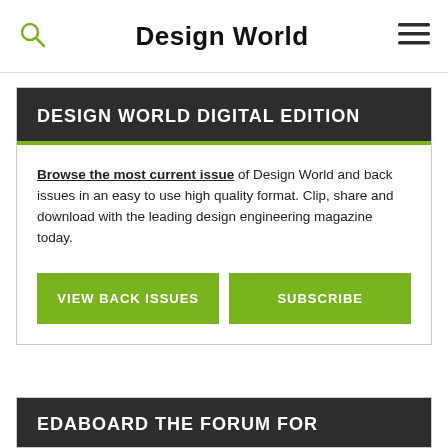Design World
DESIGN WORLD DIGITAL EDITION
Browse the most current issue of Design World and back issues in an easy to use high quality format. Clip, share and download with the leading design engineering magazine today.
VIEW BACK ISSUES
SUBSCRIBE
EDABOARD THE FORUM FOR